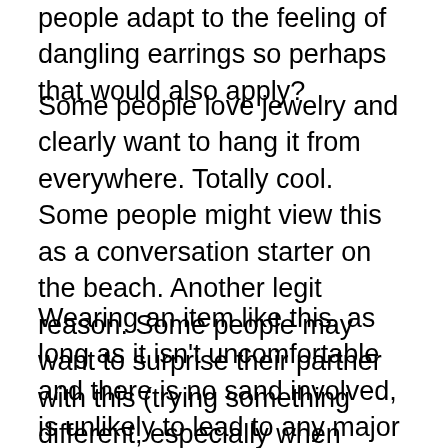people adapt to the feeling of dangling earrings so perhaps that would also apply?
Some people love jewelry and clearly want to hang it from everywhere. Totally cool. Some people might view this as a conversation starter on the beach. Another legit reason. Some people may want to surprise their partner with this (trying something different, especially when unexpected can be a big turn on). Most people like a little theater with their sex.
Wearing an item like this, as long as it isn't uncomfortable and there is no sand involved, is unlikely to lead to any major GYN issues (as this is unstudied this is an educated guess and, as always, not medical advice!). Just keep in mind if you have been sitting on a sand encrusted metal chain in a wet bathing suit for any length of time it is possible you may be too irritated to care much about any